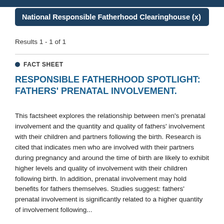National Responsible Fatherhood Clearinghouse (x)
Results 1 - 1 of 1
FACT SHEET
RESPONSIBLE FATHERHOOD SPOTLIGHT: FATHERS' PRENATAL INVOLVEMENT.
This factsheet explores the relationship between men's prenatal involvement and the quantity and quality of fathers' involvement with their children and partners following the birth. Research is cited that indicates men who are involved with their partners during pregnancy and around the time of birth are likely to exhibit higher levels and quality of involvement with their children following birth. In addition, prenatal involvement may hold benefits for fathers themselves. Studies suggest: fathers' prenatal involvement is significantly related to a higher quantity of involvement following...